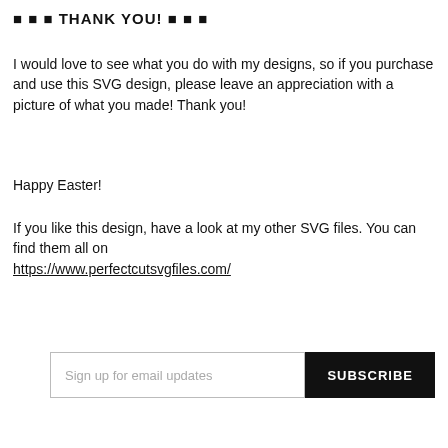■ ■ ■ THANK YOU! ■ ■ ■
I would love to see what you do with my designs, so if you purchase and use this SVG design, please leave an appreciation with a picture of what you made! Thank you!
Happy Easter!
If you like this design, have a look at my other SVG files. You can find them all on https://www.perfectcutsvgfiles.com/